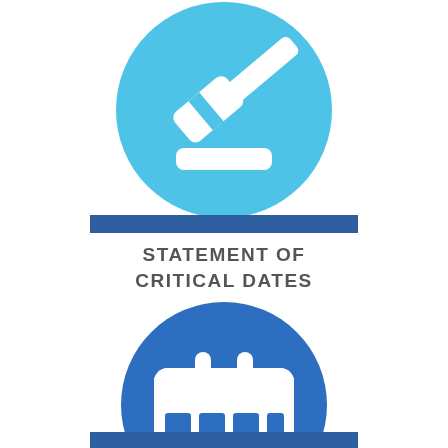[Figure (illustration): Light blue circle with white gavel/judge's hammer icon above a horizontal dark blue bar]
STATEMENT OF CRITICAL DATES
[Figure (illustration): Dark blue circle with white calendar icon above a horizontal dark blue bar at bottom]